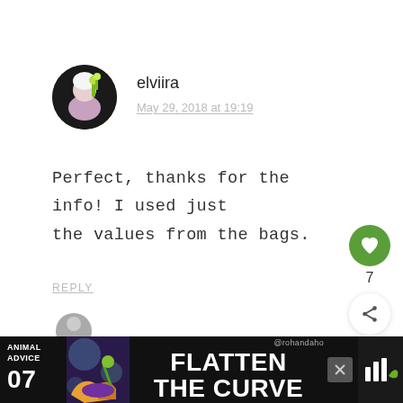[Figure (photo): Circular avatar photo of user elviira — a woman with light hair holding yellow-green flowers, dark circular frame]
elviira
May 29, 2018 at 19:19
Perfect, thanks for the info! I used just the values from the bags.
REPLY
[Figure (infographic): Green circular like/heart button with count 7 and share icon button below]
[Figure (infographic): Ad banner at bottom: Animal Advice 07, Flatten the Curve, @rohandaho handle, colorful image, close button, logo on right]